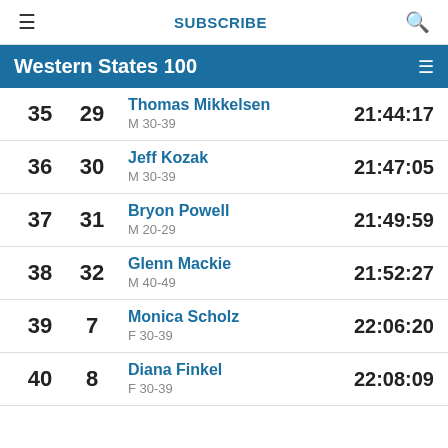≡  SUBSCRIBE  🔍
Western States 100
| Overall | Gender | Name | Age Group | Time |
| --- | --- | --- | --- | --- |
| 35 | 29 | Thomas Mikkelsen | M 30-39 | 21:44:17 |
| 36 | 30 | Jeff Kozak | M 30-39 | 21:47:05 |
| 37 | 31 | Bryon Powell | M 20-29 | 21:49:59 |
| 38 | 32 | Glenn Mackie | M 40-49 | 21:52:27 |
| 39 | 7 | Monica Scholz | F 30-39 | 22:06:20 |
| 40 | 8 | Diana Finkel | F 30-39 | 22:08:09 |